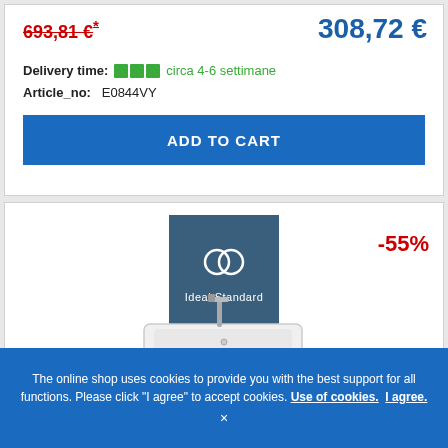693,81 €*
308,72 €
Delivery time: ■■■ circa 4-6 settimane
Article_no: E0844VY
ADD TO CART
[Figure (logo): Ideal Standard logo on dark teal/blue square background]
-55%
[Figure (photo): White bathroom vanity unit with sink and chrome faucet]
The online shop uses cookies to provide you with the best support for all functions. Please click "I agree" to accept cookies. Use of cookies. I agree.